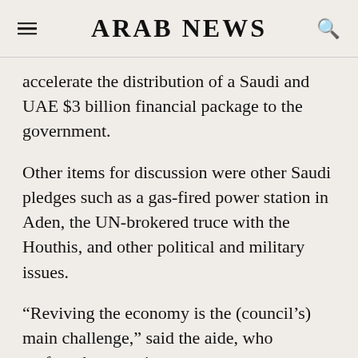ARAB NEWS
accelerate the distribution of a Saudi and UAE $3 billion financial package to the government.
Other items for discussion were other Saudi pledges such as a gas-fired power station in Aden, the UN-brokered truce with the Houthis, and other political and military issues.
“Reviving the economy is the (council’s) main challenge,” said the aide, who preferred to remain anonymous.
Before arriving in Riyadh, the Yemeni leader visited the UAE. He discussed supporting the council and his efforts to stabilize liberated areas